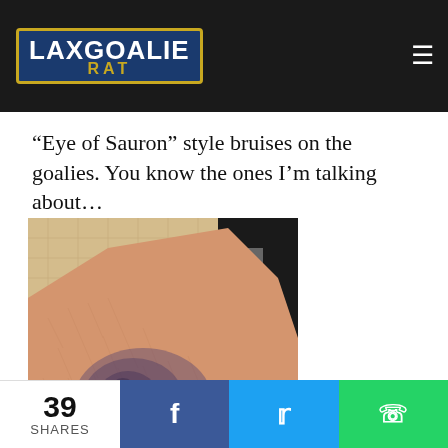Lax Goalie Rat
“Eye of Sauron” style bruises on the goalies. You know the ones I’m talking about…
[Figure (photo): Close-up photo of a person's arm/leg showing a dark bruise on skin, with a black garment visible in the background]
39 SHARES | Facebook share | Twitter share | WhatsApp share